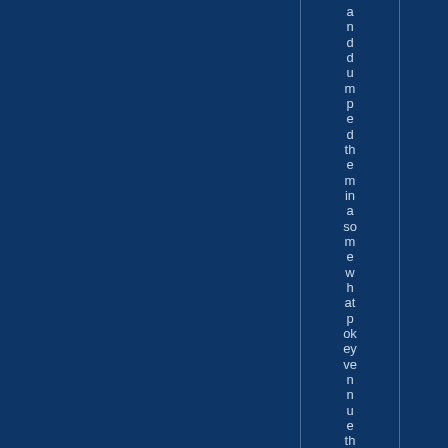and dumped them in a somewhat pokey venue that at G